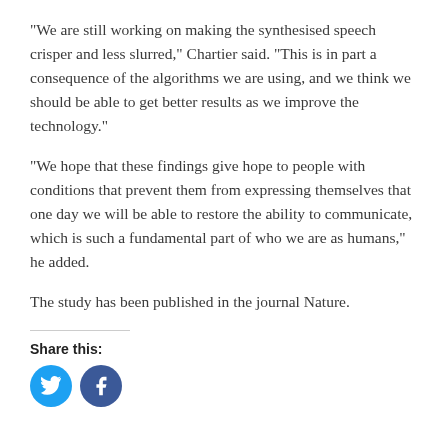“We are still working on making the synthesised speech crisper and less slurred,” Chartier said. “This is in part a consequence of the algorithms we are using, and we think we should be able to get better results as we improve the technology.”
“We hope that these findings give hope to people with conditions that prevent them from expressing themselves that one day we will be able to restore the ability to communicate, which is such a fundamental part of who we are as humans,” he added.
The study has been published in the journal Nature.
Share this:
[Figure (infographic): Two social media share buttons: Twitter (blue circle with bird icon) and Facebook (dark blue circle with f icon)]